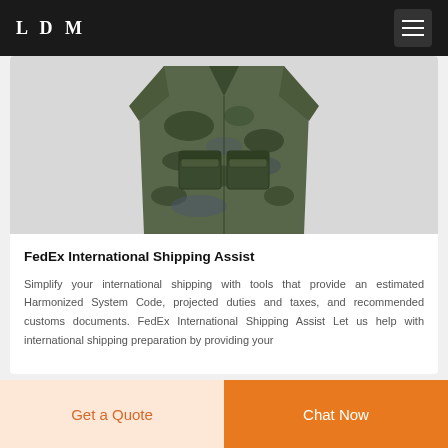LDM
[Figure (photo): Camouflage military-style short-sleeve shirt with chest pockets, displayed flat on a light background.]
FedEx International Shipping Assist
Simplify your international shipping with tools that provide an estimated Harmonized System Code, projected duties and taxes, and recommended customs documents. FedEx International Shipping Assist Let us help with international shipping preparation by providing your
Get a Quote
Chat Now